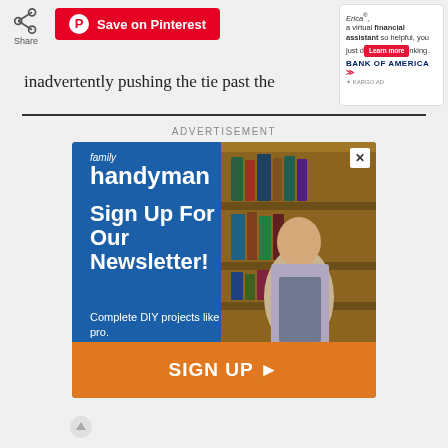[Figure (screenshot): Share icon with 'Share' label below]
[Figure (screenshot): Save on Pinterest red button with Pinterest logo]
[Figure (screenshot): Bank of America virtual financial assistant advertisement with Learn more button and Kargo Ad label]
inadvertently pushing the tie past the
[Figure (infographic): Family Handyman newsletter advertisement. Blue background with white text: 'Sign Up For Our Newsletter! Complete DIY projects like a pro.' Man in plaid shirt and apron standing in front of bookcase. Orange button at bottom: 'SIGN UP ►']